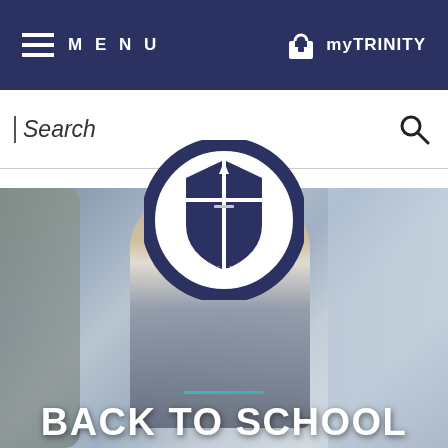MENU | myTRINITY
Search
[Figure (logo): Trinity School circular seal logo with shield, cross and sword, surrounded by text 'TRINITY SCHOOL' and motto 'Dirigite xxi sborpere']
[Figure (photo): Young girl in school uniform (plaid jumper and white blouse) looking upward, surrounded by blurred background of trees and other children]
BACK TO SCHOOL